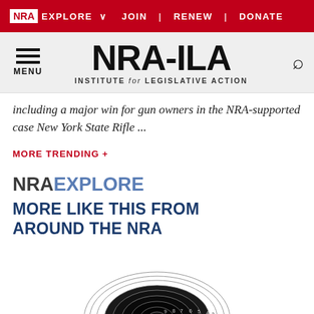NRA EXPLORE  JOIN | RENEW | DONATE
NRA-ILA INSTITUTE for LEGISLATIVE ACTION
including a major win for gun owners in the NRA-supported case New York State Rifle ...
MORE TRENDING +
NRA EXPLORE  MORE LIKE THIS FROM AROUND THE NRA
[Figure (photo): A circular shooting target with concentric rings numbered 1-9, black bullseye center, on white background]